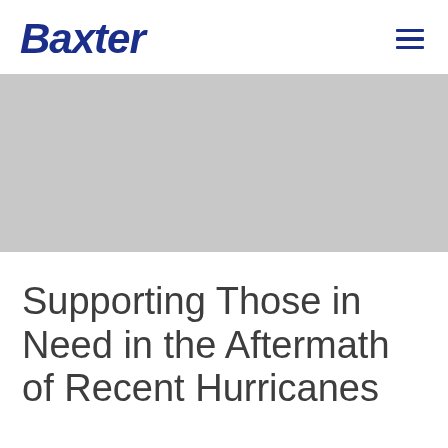Baxter
[Figure (photo): Gray placeholder hero image area for a hurricane relief article]
Supporting Those in Need in the Aftermath of Recent Hurricanes